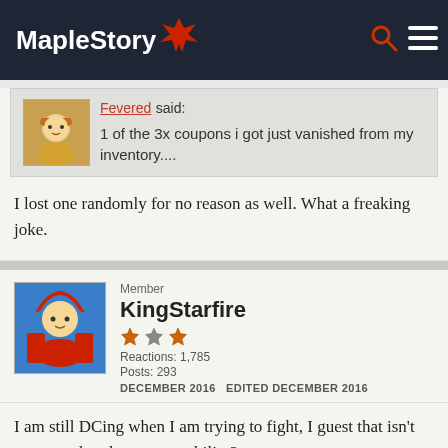MapleStory
Fevered said:
1 of the 3x coupons i got just vanished from my inventory....
I lost one randomly for no reason as well. What a freaking joke.
Member
KingStarfire
Reactions: 1,785
Posts: 293
DECEMBER 2016   EDITED DECEMBER 2016
I am still DCing when I am trying to fight, I guest that isn't connected to the server stability?